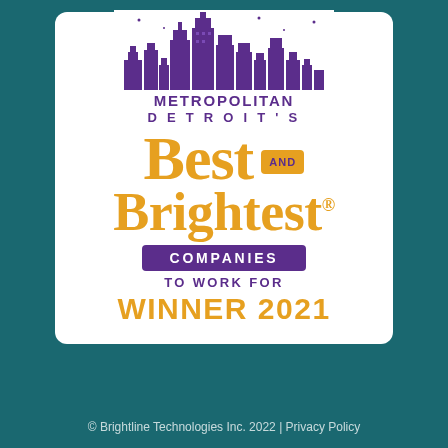[Figure (logo): Metropolitan Detroit's Best and Brightest Companies to Work For Winner 2021 award badge. Features a purple city skyline graphic at top, text 'METROPOLITAN' and 'DETROIT'S' in purple bold letters, 'BEST' and 'BRIGHTEST' in large gold serif font with 'AND' in a gold box, a purple banner reading 'COMPANIES', then 'TO WORK FOR' in purple and 'WINNER 2021' in large gold bold text. White card on teal background.]
© Brightline Technologies Inc. 2022 | Privacy Policy